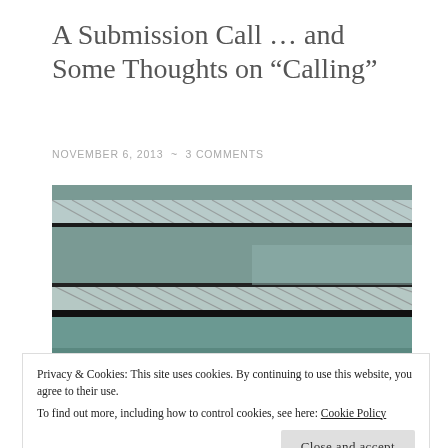A Submission Call … and Some Thoughts on “Calling”
NOVEMBER 6, 2013  ~  3 COMMENTS
[Figure (photo): Close-up photo of stacked books with teal/green spines and diagonal shadow pattern, watermark reads THE INTERIOR LIFE]
Privacy & Cookies: This site uses cookies. By continuing to use this website, you agree to their use.
To find out more, including how to control cookies, see here: Cookie Policy
Close and accept
CA (moi), and a small village in South Africa (Maggie